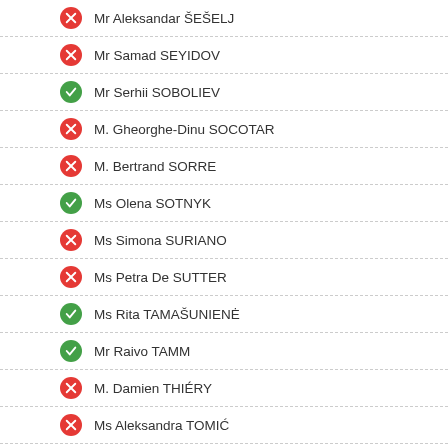Mr Aleksandar ŠEŠELJ
Mr Samad SEYIDOV
Mr Serhii SOBOLIEV
M. Gheorghe-Dinu SOCOTAR
M. Bertrand SORRE
Ms Olena SOTNYK
Ms Simona SURIANO
Ms Petra De SUTTER
Ms Rita TAMAŠUNIENĖ
Mr Raivo TAMM
M. Damien THIÉRY
Ms Aleksandra TOMIĆ
Ms Violeta TOMIĆ
M. Manuel TORNARE
Lord Don TOUHIG
Mme Nicole TRISSE
Ms Feleknas UCA